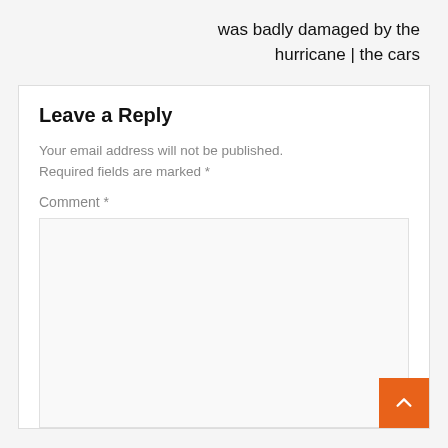was badly damaged by the hurricane | the cars
Leave a Reply
Your email address will not be published. Required fields are marked *
Comment *